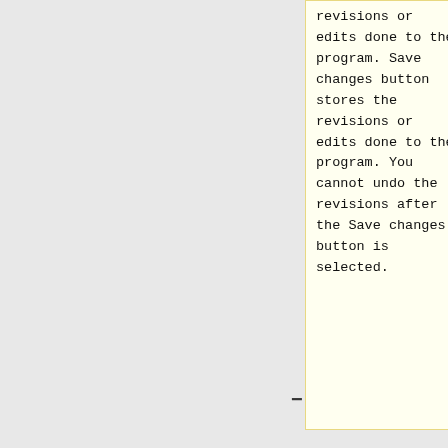revisions or edits done to the program. Save changes button stores the revisions or edits done to the program. You cannot undo the revisions after the Save changes button is selected.
revisions or edits done to the program. It removes the changes since the last save. This can undo changes to many programs and folders.